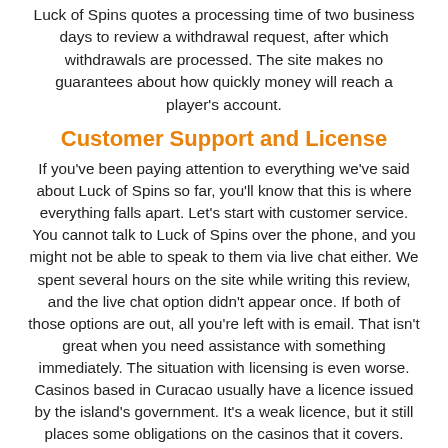Luck of Spins quotes a processing time of two business days to review a withdrawal request, after which withdrawals are processed. The site makes no guarantees about how quickly money will reach a player's account.
Customer Support and License
If you've been paying attention to everything we've said about Luck of Spins so far, you'll know that this is where everything falls apart. Let's start with customer service. You cannot talk to Luck of Spins over the phone, and you might not be able to speak to them via live chat either. We spent several hours on the site while writing this review, and the live chat option didn't appear once. If both of those options are out, all you're left with is email. That isn't great when you need assistance with something immediately. The situation with licensing is even worse. Casinos based in Curacao usually have a licence issued by the island's government. It's a weak licence, but it still places some obligations on the casinos that it covers. Luck of Spins has no licence whatsoever. In the eyes of most players, that makes it unsafe.